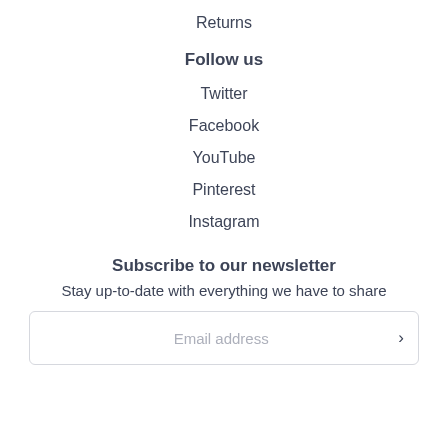Returns
Follow us
Twitter
Facebook
YouTube
Pinterest
Instagram
Subscribe to our newsletter
Stay up-to-date with everything we have to share
Email address